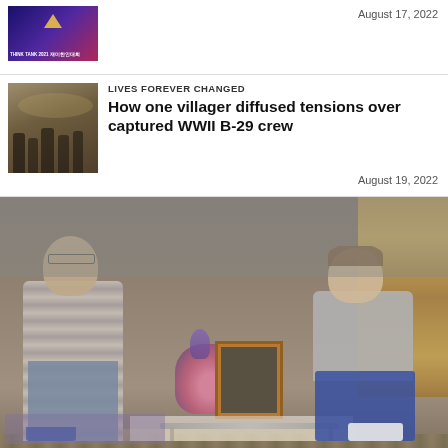[Figure (photo): Thumbnail image with purple/blue background showing Think Tank 2021 text in Korean and English]
August 17, 2022
[Figure (photo): Sepia historical black and white photo of people gathered outdoors]
LIVES FOREVER CHANGED
How one villager diffused tensions over captured WWII B-29 crew
August 19, 2022
[Figure (photo): Color photo of two men posing in a Japanese-style room: an elderly Japanese man seated on a couch wearing a striped polo shirt, and a younger Western man crouching on the right, with flowers, a framed photograph, a sword/katana, and a golden Buddhist altar in the background]